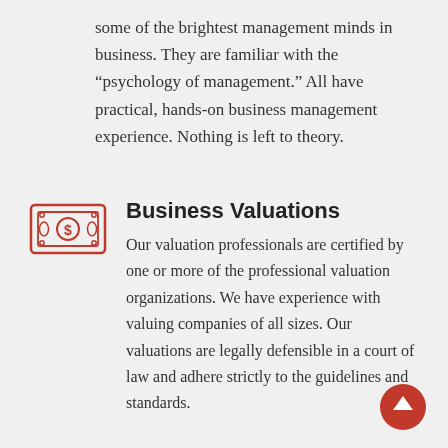some of the brightest management minds in business. They are familiar with the “psychology of management.” All have practical, hands-on business management experience. Nothing is left to theory.
[Figure (illustration): Red outline icon of a banknote/money bill with a circle containing a dollar sign in the center]
Business Valuations
Our valuation professionals are certified by one or more of the professional valuation organizations. We have experience with valuing companies of all sizes. Our valuations are legally defensible in a court of law and adhere strictly to the guidelines and standards.
[Figure (illustration): Red circle with white upward arrow, back-to-top button]